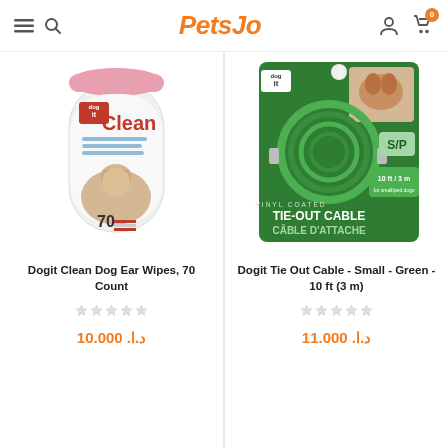PetsJo
[Figure (photo): Dogit Clean Dog Ear Wipes container, 70 count, with a golden retriever dog image on the label]
Dogit Clean Dog Ear Wipes, 70 Count
[Figure (other): Empty 5-star rating (no stars filled)]
د.ا. 10.000
[Figure (photo): Dogit Vinyl Coated Tie-Out Cable Small/Green 10ft (3m) product packaging with a beagle dog image]
Dogit Tie Out Cable - Small - Green - 10 ft (3 m)
[Figure (other): Empty 5-star rating (no stars filled)]
د.ا. 11.000